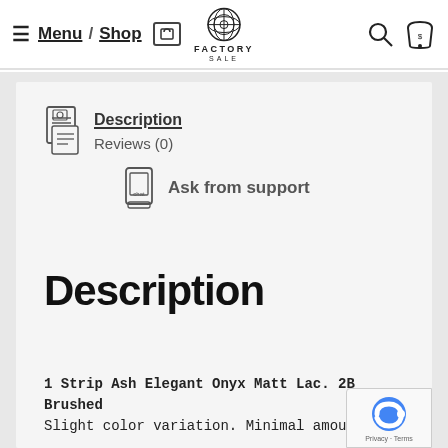Menu / Shop | FACTORY SALE
Description
Reviews (0)
Ask from support
Description
1 Strip Ash Elegant Onyx Matt Lac. 2B Brushed
Slight color variation. Minimal amount of